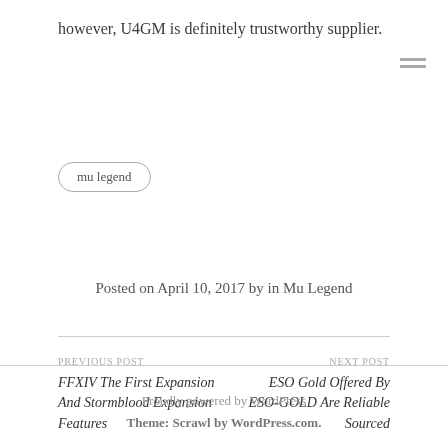however, U4GM is definitely trustworthy supplier.
mu legend
Posted on April 10, 2017 by in Mu Legend
PREVIOUS POST
FFXIV The First Expansion And Stormblood Expansion Features
NEXT POST
ESO Gold Offered By ESO-GOLD Are Reliable Sourced
Proudly powered by WordPress
Theme: Scrawl by WordPress.com.